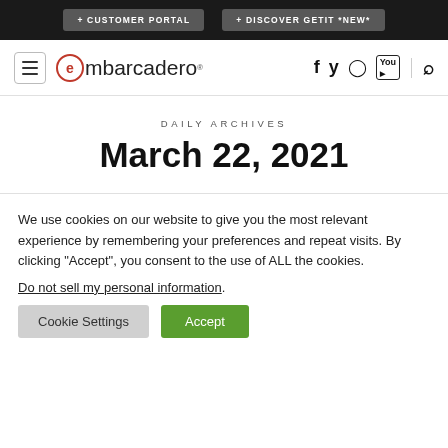+ CUSTOMER PORTAL   + DISCOVER GETIT *NEW*
[Figure (logo): Embarcadero logo with hamburger menu and social icons (Facebook, Twitter, GitHub, YouTube, Search)]
DAILY ARCHIVES
March 22, 2021
We use cookies on our website to give you the most relevant experience by remembering your preferences and repeat visits. By clicking “Accept”, you consent to the use of ALL the cookies.
Do not sell my personal information.
Cookie Settings   Accept